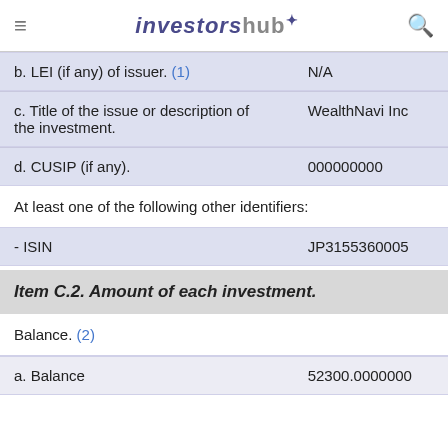investorshub
| b. LEI (if any) of issuer. (1) | N/A |
| c. Title of the issue or description of the investment. | WealthNavi Inc |
| d. CUSIP (if any). | 000000000 |
At least one of the following other identifiers:
| - ISIN | JP3155360005 |
Item C.2. Amount of each investment.
Balance. (2)
| a. Balance | 52300.0000000 |